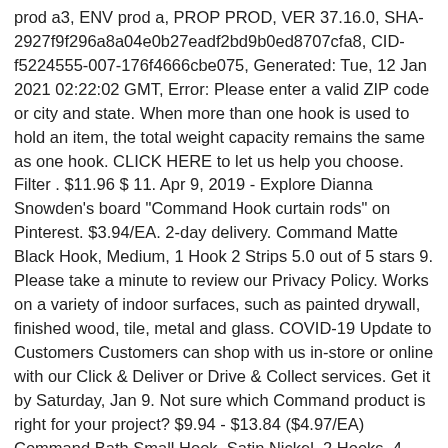prod a3, ENV prod a, PROP PROD, VER 37.16.0, SHA-2927f9f296a8a04e0b27eadf2bd9b0ed8707cfa8, CID-f5224555-007-176f4666cbe075, Generated: Tue, 12 Jan 2021 02:22:02 GMT, Error: Please enter a valid ZIP code or city and state. When more than one hook is used to hold an item, the total weight capacity remains the same as one hook. CLICK HERE to let us help you choose. Filter . $11.96 $ 11. Apr 9, 2019 - Explore Dianna Snowden's board "Command Hook curtain rods" on Pinterest. $3.94/EA. 2-day delivery. Command Matte Black Hook, Medium, 1 Hook 2 Strips 5.0 out of 5 stars 9. Please take a minute to review our Privacy Policy. Works on a variety of indoor surfaces, such as painted drywall, finished wood, tile, metal and glass. COVID-19 Update to Customers Customers can shop with us in-store or online with our Click & Deliver or Drive & Collect services. Get it by Saturday, Jan 9. Not sure which Command product is right for your project? $9.94 - $13.84 ($4.97/EA) Command Bath Small Hook, Satin Nickel, 2 Hooks, 4 Strips. on $35+ orders. 99 ($4.00/Count) $8.99 $8.99. Command™ Hooks and Clips with Water Resistant Strips allow you to keep your bathroom organized both indoors and outdoors (the hooks are not intended for use in